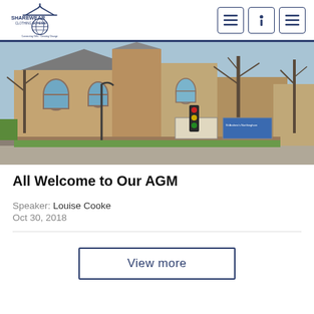Sharewear Clothing Scheme
[Figure (photo): Exterior photo of a large stone church building with bare trees in winter, with a street scene including signs and traffic lights.]
All Welcome to Our AGM
Speaker: Louise Cooke
Oct 30, 2018
View more